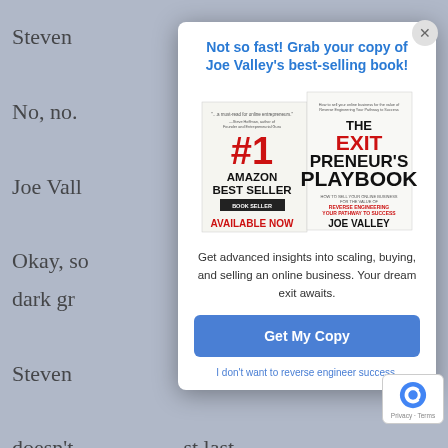Steven

No, no.

Joe Vall

Okay, so ... ay hat, dark gr

Steven

doesn't ... st last time, I t ... lve any Amazo ... whatever ... ut a team of ... listing Y ...
Not so fast! Grab your copy of Joe Valley's best-selling book!
[Figure (illustration): Book cover for 'The Exitpreneur's Playbook' by Joe Valley, labeled #1 Amazon Best Seller, Available Now]
Get advanced insights into scaling, buying, and selling an online business. Your dream exit awaits.
Get My Copy
I don't want to reverse engineer success.